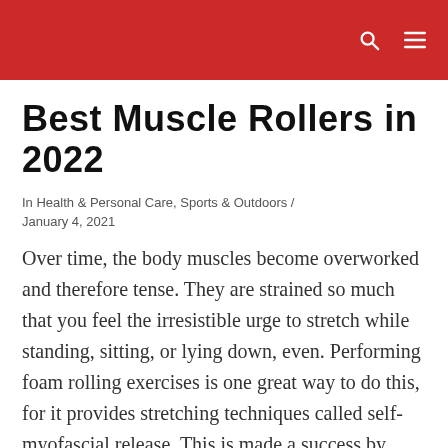Best Muscle Rollers in 2022
In Health & Personal Care, Sports & Outdoors / January 4, 2021
Over time, the body muscles become overworked and therefore tense. They are strained so much that you feel the irresistible urge to stretch while standing, sitting, or lying down, even. Performing foam rolling exercises is one great way to do this, for it provides stretching techniques called self-myofascial release. This is made a success by getting good